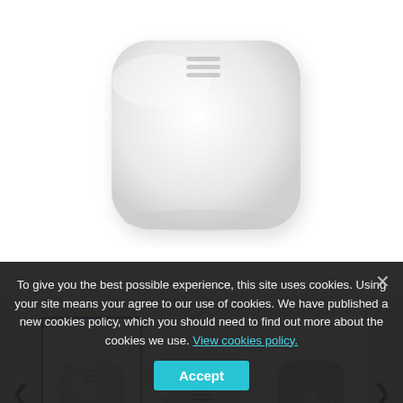[Figure (photo): Close-up top view of a white Aqara Zigbee temperature and humidity sensor device with rounded square shape and ventilation slots visible at the top]
[Figure (photo): Thumbnail row showing three product views: (1) angled top view, selected with purple border; (2) side profile view showing the thin form factor; (3) bottom/face view showing circular ventilation pattern]
AQARA - ZIGBEE TEMPERATURE & HUMIDITY SENSOR
Reference WEB-SSTF01LM
To give you the best possible experience, this site uses cookies. Using your site means your agree to our use of cookies. We have published a new cookies policy, which you should need to find out more about the cookies we use. View cookies policy. Accept